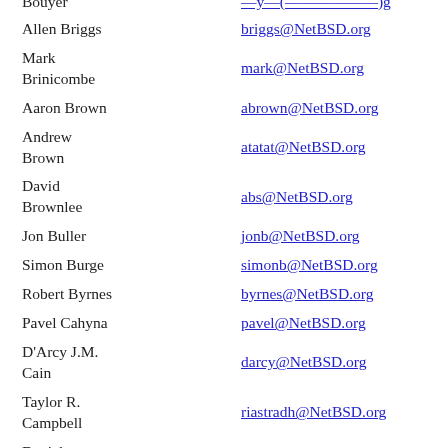| Bouyer | —y—(——————)g |
| Allen Briggs | briggs@NetBSD.org |
| Mark Brinicombe | mark@NetBSD.org |
| Aaron Brown | abrown@NetBSD.org |
| Andrew Brown | atatat@NetBSD.org |
| David Brownlee | abs@NetBSD.org |
| Jon Buller | jonb@NetBSD.org |
| Simon Burge | simonb@NetBSD.org |
| Robert Byrnes | byrnes@NetBSD.org |
| Pavel Cahyna | pavel@NetBSD.org |
| D'Arcy J.M. Cain | darcy@NetBSD.org |
| Taylor R. Campbell | riastradh@NetBSD.org |
| Daniel Carosone | dan@NetBSD.org |
| Dave Carrel | carrel@NetBSD.org |
| James Chacon | jmc@NetBSD.org |
| Mihai Chelaru | kefren@NetBSD.org |